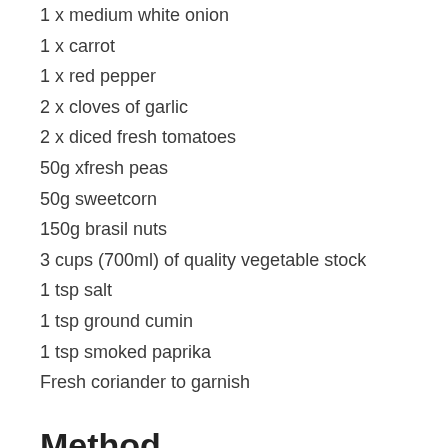1 x medium white onion
1 x carrot
1 x red pepper
2 x cloves of garlic
2 x diced fresh tomatoes
50g xfresh peas
50g sweetcorn
150g brasil nuts
3 cups (700ml) of quality vegetable stock
1 tsp salt
1 tsp ground cumin
1 tsp smoked paprika
Fresh coriander to garnish
Method
If you have time, soak the rice for at least an hour in plenty of filtered water. Finely dice the onion, carrot and